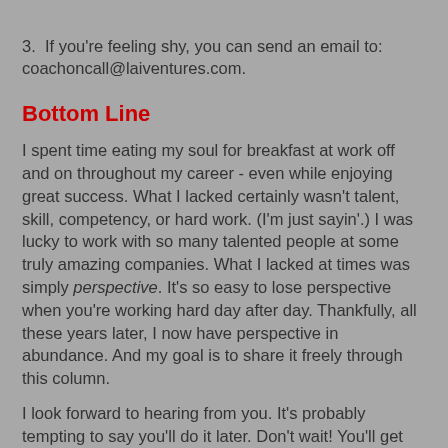3.  If you're feeling shy, you can send an email to: coachoncall@laiventures.com.
Bottom Line
I spent time eating my soul for breakfast at work off and on throughout my career - even while enjoying great success. What I lacked certainly wasn't talent, skill, competency, or hard work. (I'm just sayin'.) I was lucky to work with so many talented people at some truly amazing companies. What I lacked at times was simply perspective. It's so easy to lose perspective when you're working hard day after day. Thankfully, all these years later, I now have perspective in abundance. And my goal is to share it freely through this column.
I look forward to hearing from you. It's probably tempting to say you'll do it later. Don't wait! You'll get busy and forget. I know how it goes. Remember? I've been there. Hit me now with whatever is on your mind. I'll answer as many questions